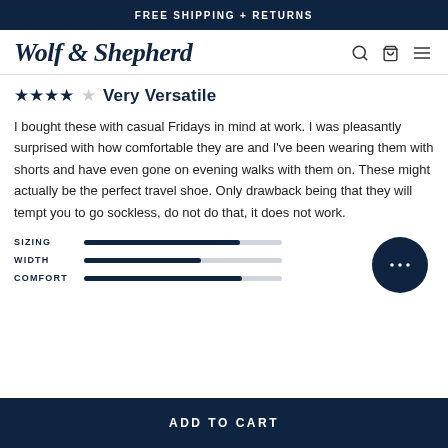FREE SHIPPING + RETURNS
[Figure (logo): Wolf & Shepherd script logo with navigation icons (search, bag, menu)]
★★★★☆  Very Versatile
I bought these with casual Fridays in mind at work. I was pleasantly surprised with how comfortable they are and I've been wearing them with shorts and have even gone on evening walks with them on. These might actually be the perfect travel shoe. Only drawback being that they will tempt you to go sockless, do not do that, it does not work.
[Figure (infographic): Three metric bars: SIZING (about 80% filled), WIDTH (about 60% filled), COMFORT (about 80% filled), with a chat button on the right]
ADD TO CART